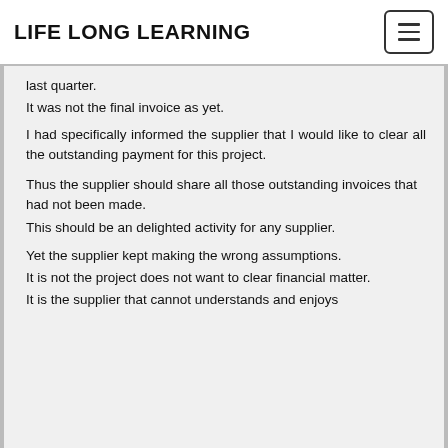LIFE LONG LEARNING
last quarter.
It was not the final invoice as yet.
I had specifically informed the supplier that I would like to clear all the outstanding payment for this project.
Thus the supplier should share all those outstanding invoices that had not been made.
This should be an delighted activity for any supplier.
Yet the supplier kept making the wrong assumptions.
It is not the project does not want to clear financial matter.
It is the supplier that cannot understands and enjoys